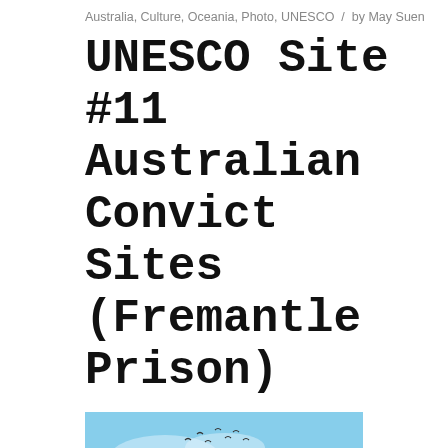Australia, Culture, Oceania, Photo, UNESCO  /  by May Suen
UNESCO Site #11 Australian Convict Sites (Fremantle Prison)
[Figure (photo): Photograph of Fremantle Prison facade — a limestone colonial building with two rounded corner towers, a central arched gate, and a decorative curved gable with a clock at the top. Several birds fly overhead against a blue sky with light clouds.]